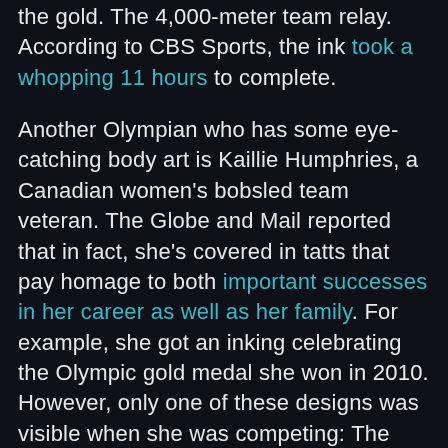the gold. The 4,000-meter team relay. According to CBS Sports, the ink took a whopping 11 hours to complete.

Another Olympian who has some eye-catching body art is Kaillie Humphries, a Canadian women's bobsled team veteran. The Globe and Mail reported that in fact, she's covered in tatts that pay homage to both important successes in her career as well as her family. For example, she got an inking celebrating the Olympic gold medal she won in 2010. However, only one of these designs was visible when she was competing: The word "believe" on the front of her right hand. According to